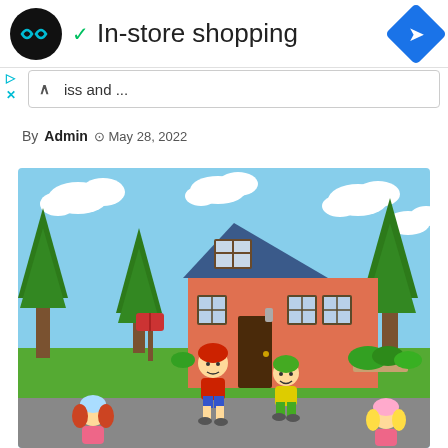In-store shopping
iss and ...
By Admin  May 28, 2022
[Figure (illustration): Cartoon illustration of children roller skating in front of a house with trees and clouds in the background]